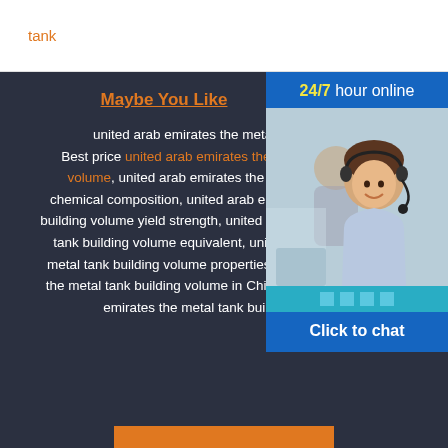tank
Maybe You Like
united arab emirates the metal tank building Best price united arab emirates the metal tank building volume, united arab emirates the metal tank building chemical composition, united arab emirates the metal tank building volume yield strength, united arab emirates the metal tank building volume equivalent, united arab emirates the metal tank building volume properties, united arab emirates the metal tank building volume in China, what is united arab emirates the metal tank building volume,
[Figure (photo): Customer service representative woman smiling with headset, with another person in background. Chat widget overlay with '24/7 hour online' header, photo, dot indicators, and 'Click to chat' button.]